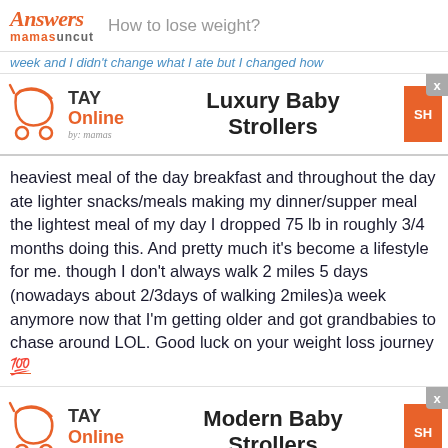Answers mamasuncut — How to lose weight?
week and I didn't change what I ate but I changed how
[Figure (illustration): TAY Online by mamas ad banner for Luxury Baby Strollers with stroller icon and orange shop button]
heaviest meal of the day breakfast and throughout the day ate lighter snacks/meals making my dinner/supper meal the lightest meal of my day I dropped 75 lb in roughly 3/4 months doing this. And pretty much it's become a lifestyle for me. though I don't always walk 2 miles 5 days (nowadays about 2/3days of walking 2miles)a week anymore now that I'm getting older and got grandbabies to chase around LOL. Good luck on your weight loss journey 💯
[Figure (illustration): TAY Online by mamas ad banner for Modern Baby Strollers with stroller icon and orange shop button]